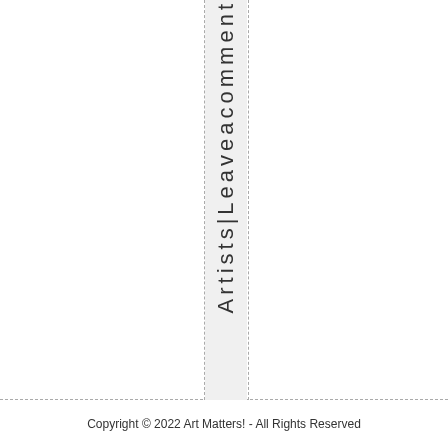Artists|Leaveacomment
Copyright © 2022 Art Matters! - All Rights Reserved